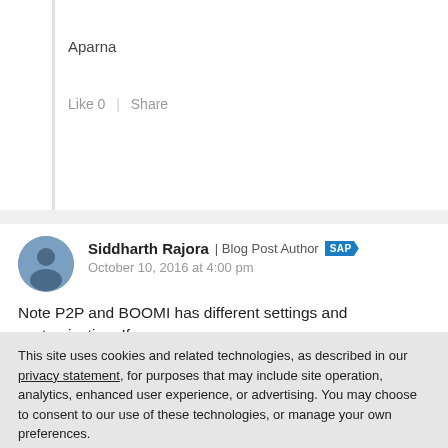Aparna
Like 0  |  Share
Siddharth Rajora | Blog Post Author [SAP] October 10, 2016 at 4:00 pm
Note P2P and BOOMI has different settings and customisation. If
This site uses cookies and related technologies, as described in our privacy statement, for purposes that may include site operation, analytics, enhanced user experience, or advertising. You may choose to consent to our use of these technologies, or manage your own preferences.
Accept Cookies
More Information
Privacy Policy | Powered by: TrustArc
Like 0  |  Share